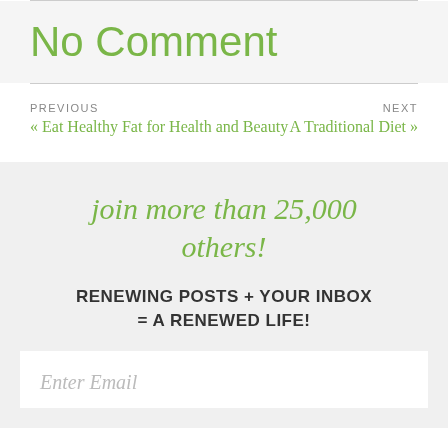No Comment
PREVIOUS « Eat Healthy Fat for Health and Beauty   A Traditional Diet » NEXT
join more than 25,000 others!
RENEWING POSTS + YOUR INBOX = A RENEWED LIFE!
Enter Email